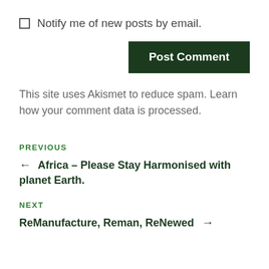Notify me of new posts by email.
Post Comment
This site uses Akismet to reduce spam. Learn how your comment data is processed.
PREVIOUS
← Africa – Please Stay Harmonised with planet Earth.
NEXT
ReManufacture, Reman, ReNewed →